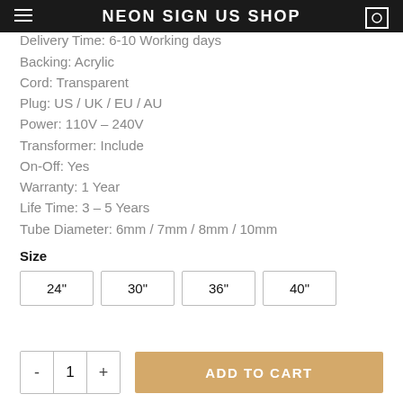NEON SIGN US SHOP
Delivery Time: 6-10 Working days
Backing: Acrylic
Cord: Transparent
Plug: US / UK / EU / AU
Power: 110V – 240V
Transformer: Include
On-Off: Yes
Warranty: 1 Year
Life Time: 3 – 5 Years
Tube Diameter: 6mm / 7mm / 8mm / 10mm
Size
24"
30"
36"
40"
ADD TO CART